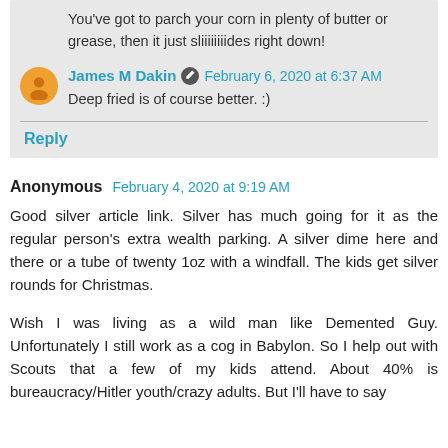You've got to parch your corn in plenty of butter or grease, then it just sliiiiiiiides right down!
James M Dakin · February 6, 2020 at 6:37 AM
Deep fried is of course better. :)
Reply
Anonymous · February 4, 2020 at 9:19 AM
Good silver article link. Silver has much going for it as the regular person's extra wealth parking. A silver dime here and there or a tube of twenty 1oz with a windfall. The kids get silver rounds for Christmas.
Wish I was living as a wild man like Demented Guy. Unfortunately I still work as a cog in Babylon. So I help out with Scouts that a few of my kids attend. About 40% is bureaucracy/Hitler youth/crazy adults. But I'll have to say